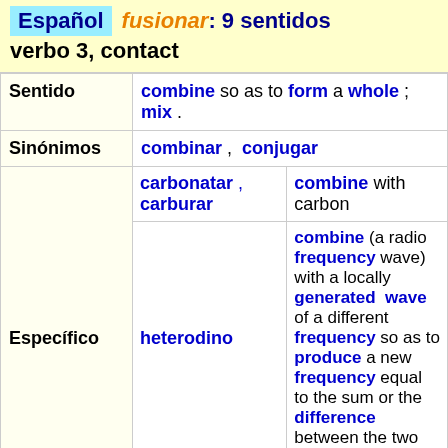Español  fusionar: 9 sentidos  verbo 3, contact
|  |  |
| --- | --- |
| Sentido | combine so as to form a whole ; mix . |
| Sinónimos | combinar , conjugar |
| Específico | carbonatar , carburar | combine with carbon |
| Específico | heterodino | combine (a radio frequency wave) with a locally generated wave of a different frequency so as to produce a new frequency equal to the sum or the difference between the two |
| Específico | incorporar , integrar | make into a whole or make |